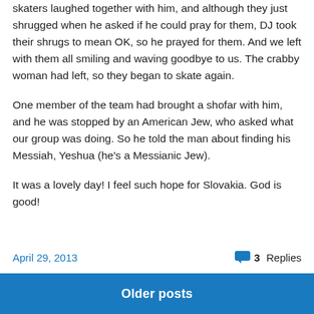skaters laughed together with him, and although they just shrugged when he asked if he could pray for them, DJ took their shrugs to mean OK, so he prayed for them.  And we left with them all smiling and waving goodbye to us.  The crabby woman had left, so they began to skate again.
One member of the team had brought a shofar with him, and he was stopped by an American Jew, who asked what our group was doing.  So he told the man about finding his Messiah, Yeshua (he's a Messianic Jew).
It was a lovely day!  I feel such hope for Slovakia.  God is good!
April 29, 2013
3 Replies
Older posts